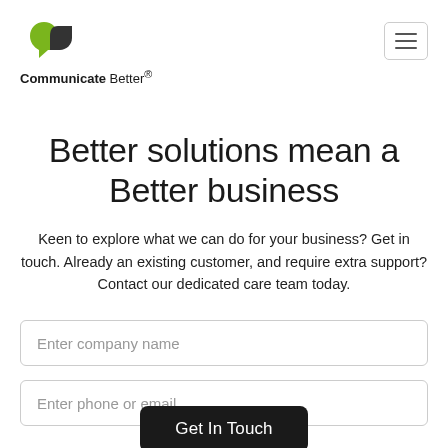[Figure (logo): Communicate Better logo: stylized speech bubble icon in green and dark grey, with text 'Communicate Better®' below]
Better solutions mean a Better business
Keen to explore what we can do for your business? Get in touch. Already an existing customer, and require extra support? Contact our dedicated care team today.
Enter company name
Enter phone or email
Get In Touch